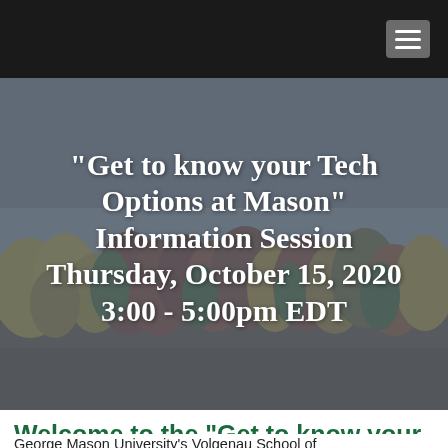Navigation bar with hamburger menu
[Figure (photo): Autumn forest landscape with colorful trees (yellow, red, green) under a grey cloudy sky, used as hero background image]
"Get to know your Tech Options at Mason" Information Session Thursday, October 15, 2020 3:00 - 5:00pm EDT
Welcome to the "Get to know your Tech Options at Mason" Information Session
George Mason University's Volgenau School of